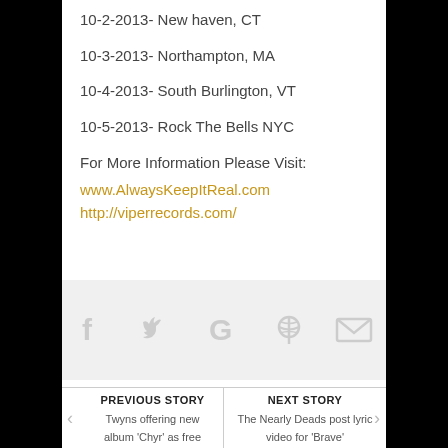10-2-2013- New haven, CT
10-3-2013- Northampton, MA
10-4-2013- South Burlington, VT
10-5-2013- Rock The Bells NYC
For More Information Please Visit:
www.AlwaysKeepItReal.com
http://viperrecords.com/
[Figure (infographic): Social sharing icons: Facebook, Twitter, Google+, Pinterest, Email — displayed in light gray on a light gray background bar]
PREVIOUS STORY
Twyns offering new album 'Chyr' as free Stream/Download
NEXT STORY
The Nearly Deads post lyric video for 'Brave'